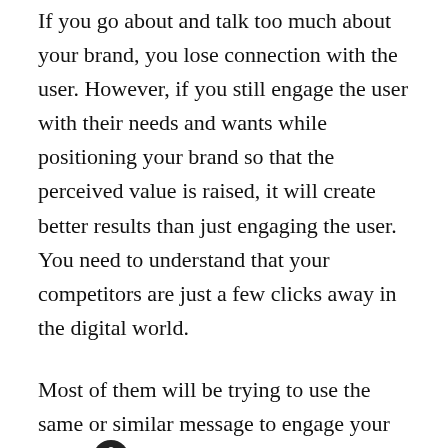If you go about and talk too much about your brand, you lose connection with the user. However, if you still engage the user with their needs and wants while positioning your brand so that the perceived value is raised, it will create better results than just engaging the user. You need to understand that your competitors are just a few clicks away in the digital world.
Most of them will be trying to use the same or similar message to engage your target prospect. At a certain point, these companies sound exactly the same to the user. But by